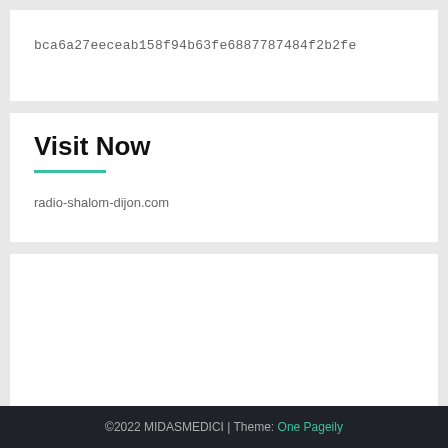bca6a27eeceab158f94b63fe6887787484f2b2fe
Visit Now
radio-shalom-dijon.com
©2022 MIDASMEDICI | Theme: One Pageily